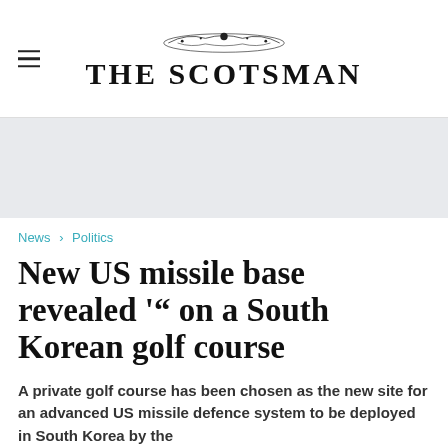THE SCOTSMAN
News > Politics
New US missile base revealed '" on a South Korean golf course
A private golf course has been chosen as the new site for an advanced US missile defence system to be deployed in South Korea by the